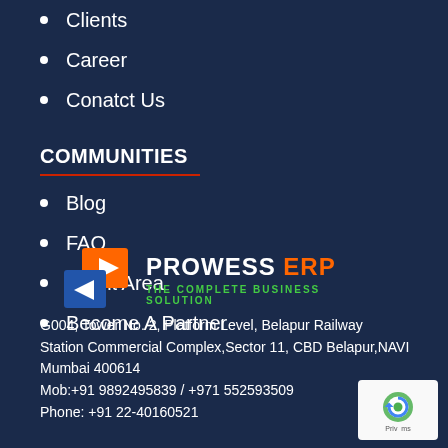Clients
Career
Conatct Us
COMMUNITIES
Blog
FAQ
Client Area
Become A Partner
[Figure (logo): Prowess ERP logo with orange and blue icon, white text PROWESS ERP, green tagline THE COMPLETE BUSINESS SOLUTION]
G004, Tower No. 2, Platform Level, Belapur Railway Station Commercial Complex,Sector 11, CBD Belapur,NAVI Mumbai 400614
Mob:+91 9892495839 / +971 552593509
Phone: +91 22-40160521